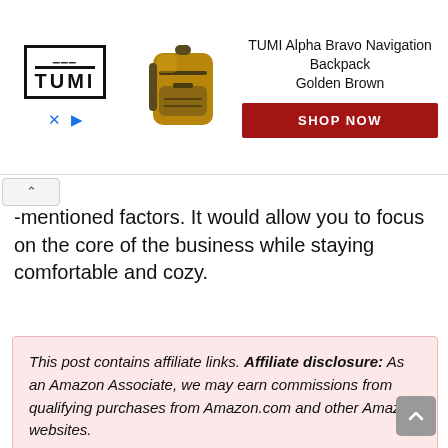[Figure (other): TUMI brand advertisement banner showing TUMI logo, a golden brown backpack image, product name 'TUMI Alpha Bravo Navigation Backpack Golden Brown', and a red 'SHOP NOW' button]
-mentioned factors. It would allow you to focus on the core of the business while staying comfortable and cozy.
This post contains affiliate links. Affiliate disclosure: As an Amazon Associate, we may earn commissions from qualifying purchases from Amazon.com and other Amazon websites.